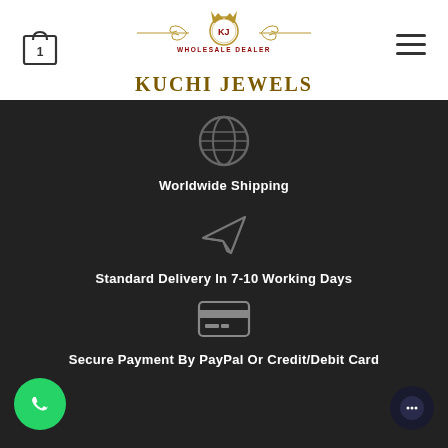WHOLESALE DEALER KUCHI JEWELS
[Figure (infographic): Globe icon representing worldwide shipping]
Worldwide Shipping
[Figure (infographic): Paper plane icon representing delivery]
Standard Delivery In 7-10 Working Days
[Figure (infographic): Credit card icon representing secure payment]
Secure Payment By PayPal Or Credit/Debit Card